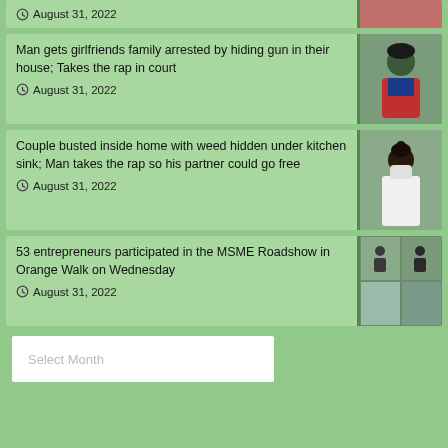August 31, 2022
Man gets girlfriends family arrested by hiding gun in their house; Takes the rap in court
August 31, 2022
[Figure (photo): Portrait photo of a young man]
Couple busted inside home with weed hidden under kitchen sink; Man takes the rap so his partner could go free
August 31, 2022
[Figure (photo): Photo of a woman wearing a mask]
53 entrepreneurs participated in the MSME Roadshow in Orange Walk on Wednesday
August 31, 2022
[Figure (photo): Collage of event photos from MSME Roadshow]
Select Month